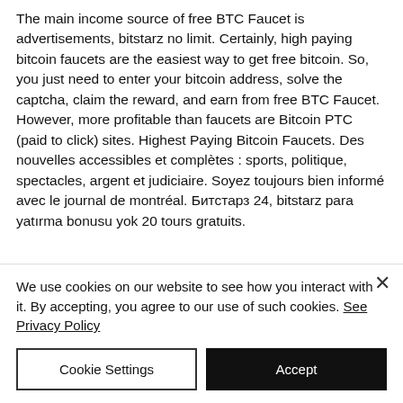The main income source of free BTC Faucet is advertisements, bitstarz no limit. Certainly, high paying bitcoin faucets are the easiest way to get free bitcoin. So, you just need to enter your bitcoin address, solve the captcha, claim the reward, and earn from free BTC Faucet. However, more profitable than faucets are Bitcoin PTC (paid to click) sites. Highest Paying Bitcoin Faucets. Des nouvelles accessibles et complètes : sports, politique, spectacles, argent et judiciaire. Soyez toujours bien informé avec le journal de montréal. Битстарз 24, bitstarz para yatırma bonusu yok 20 tours gratuits.
We use cookies on our website to see how you interact with it. By accepting, you agree to our use of such cookies. See Privacy Policy